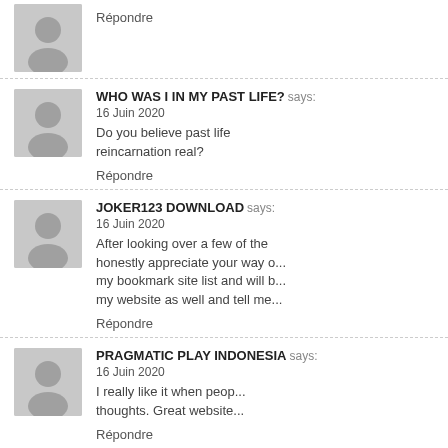Répondre
WHO WAS I IN MY PAST LIFE? says: 16 Juin 2020 — Do you believe past life reincarnation real? Répondre
JOKER123 DOWNLOAD says: 16 Juin 2020 — After looking over a few of the honestly appreciate your way of my bookmark site list and will be my website as well and tell me Répondre
PRAGMATIC PLAY INDONESIA says: 16 Juin 2020 — I really like it when people thoughts. Great website Répondre
JOKER123 DAFTAR says: 16 Juin 2020 — This is the perfect website for anyone who wants to know about topic. You understand a whole lot in (not that I actually would want to... new spin on a subject which has been. Wonderful stuff, just excellent! Répondre